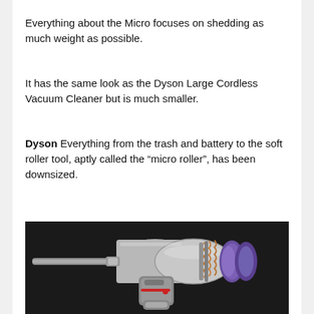Everything about the Micro focuses on shedding as much weight as possible.
It has the same look as the Dyson Large Cordless Vacuum Cleaner but is much smaller.
Dyson Everything from the trash and battery to the soft roller tool, aptly called the “micro roller”, has been downsized.
[Figure (photo): Photo of a Dyson Micro cordless vacuum cleaner laying on a dark background, showing the compact cylindrical body, purple battery ends, copper wiring details, a slim attachment wand on the left, and a trigger handle at the bottom.]